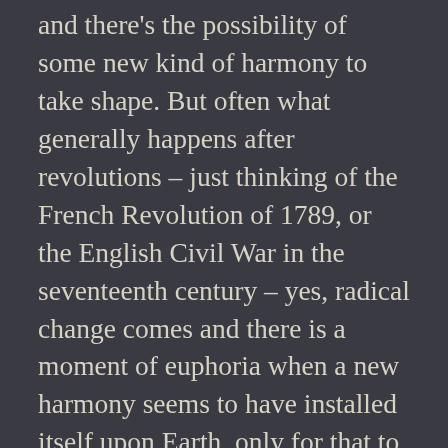and there's the possibility of some new kind of harmony to take shape. But often what generally happens after revolutions – just thinking of the French Revolution of 1789, or the English Civil War in the seventeenth century – yes, radical change comes and there is a moment of euphoria when a new harmony seems to have installed itself upon Earth, only for that to be followed by some new form of oppression, whether that's Napoleon or Oliver Cromwell, both of those perhaps acting to some extent as the figure of The Devil in the tarot suggests. Then, in due course, The Lightning-Struck Tower makes its influence felt, where the actual outcome of all this revolutionary change finally comes home to roost, but in a form that couldn't have been